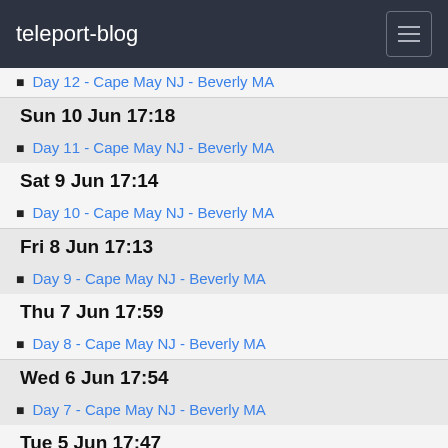teleport-blog
Day 12 - Cape May NJ - Beverly MA
Sun 10 Jun 17:18
Day 11 - Cape May NJ - Beverly MA
Sat 9 Jun 17:14
Day 10 - Cape May NJ - Beverly MA
Fri 8 Jun 17:13
Day 9 - Cape May NJ - Beverly MA
Thu 7 Jun 17:59
Day 8 - Cape May NJ - Beverly MA
Wed 6 Jun 17:54
Day 7 - Cape May NJ - Beverly MA
Tue 5 Jun 17:47
Day 6 - Cape May NJ - Beverly MA
Mon 4 Jun 17:43
Day 5 - Cape May NJ - Beverly MA